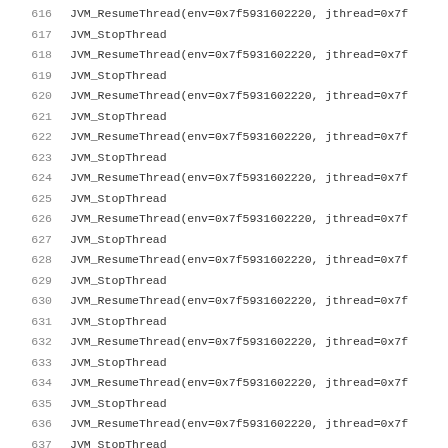616  JVM_ResumeThread(env=0x7f5931602220, jthread=0x7f
617  JVM_StopThread
618  JVM_ResumeThread(env=0x7f5931602220, jthread=0x7f
619  JVM_StopThread
620  JVM_ResumeThread(env=0x7f5931602220, jthread=0x7f
621  JVM_StopThread
622  JVM_ResumeThread(env=0x7f5931602220, jthread=0x7f
623  JVM_StopThread
624  JVM_ResumeThread(env=0x7f5931602220, jthread=0x7f
625  JVM_StopThread
626  JVM_ResumeThread(env=0x7f5931602220, jthread=0x7f
627  JVM_StopThread
628  JVM_ResumeThread(env=0x7f5931602220, jthread=0x7f
629  JVM_StopThread
630  JVM_ResumeThread(env=0x7f5931602220, jthread=0x7f
631  JVM_StopThread
632  JVM_ResumeThread(env=0x7f5931602220, jthread=0x7f
633  JVM_StopThread
634  JVM_ResumeThread(env=0x7f5931602220, jthread=0x7f
635  JVM_StopThread
636  JVM_ResumeThread(env=0x7f5931602220, jthread=0x7f
637  JVM_StopThread
638  JVM_ResumeThread(env=0x7f5931602220,